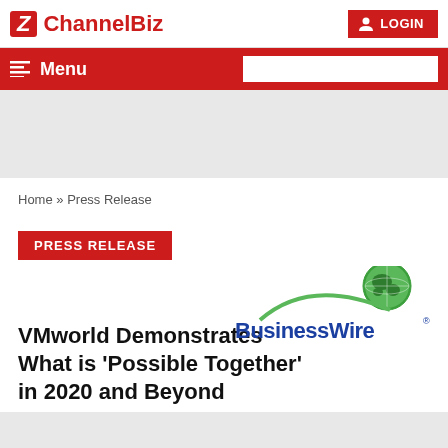[Figure (logo): ChannelBiz logo with red Z icon and red text, plus LOGIN button top right]
Menu (navigation bar with search box)
[Figure (other): Gray advertisement banner area]
Home » Press Release
PRESS RELEASE
[Figure (logo): BusinessWire logo with green globe arc and blue bold text]
VMworld Demonstrates What is ‘Possible Together’ in 2020 and Beyond